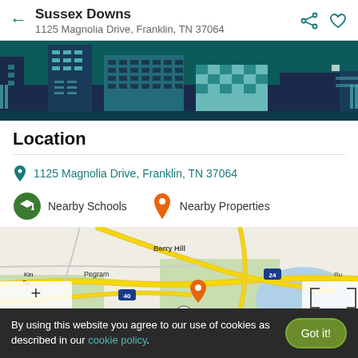Sussex Downs
1125 Magnolia Drive, Franklin, TN 37064
[Figure (illustration): Illustrated city skyline banner with teal and dark blue buildings]
Location
1125 Magnolia Drive, Franklin, TN 37064
Nearby Schools   Nearby Properties
[Figure (map): Interactive map showing Franklin, TN area with roads including I-40, I-24, route 100, Berry Hill label, Pegram label, and an orange location pin near Franklin]
By using this website you agree to our use of cookies as described in our cookie policy.